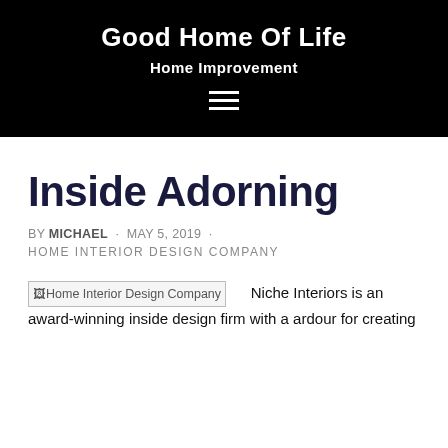Good Home Of Life
Home Improvement
[Figure (other): Hamburger menu icon (three horizontal white lines on black background)]
Inside Adorning
BY MICHAEL · MAY 5, 2019 · HOME INTERIOR DESIGN COMPANY
Home Interior Design Company   Niche Interiors is an award-winning inside design firm with a ardour for creating